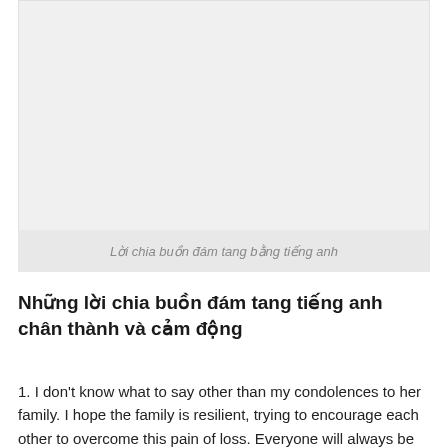[Figure (photo): Large light gray placeholder image box]
Lời chia buồn đám tang bằng tiếng anh
Những lời chia buồn đám tang tiếng anh chân thành và cảm động
1. I don't know what to say other than my condolences to her family. I hope the family is resilient, trying to encourage each other to overcome this pain of loss. Everyone will always be...